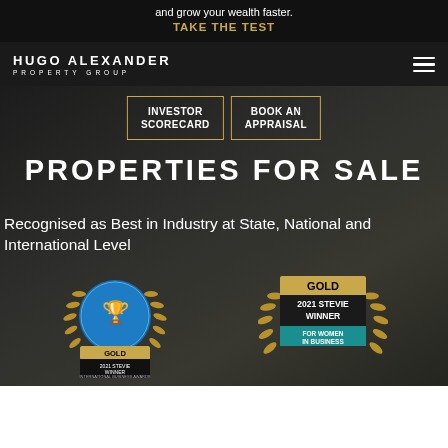and grow your wealth faster.
TAKE THE TEST
[Figure (logo): Hugo Alexander Property Group logo in white text on dark background]
INVESTOR SCORECARD
BOOK AN APPRAISAL
PROPERTIES FOR SALE
Recognised as Best in Industry at State, National and International Level
[Figure (illustration): Gold 2021 Stevie Winner International Business Awards badge with laurel wreath]
[Figure (illustration): Gold 2021 Stevie Winner For Women In Business badge with laurel wreath]